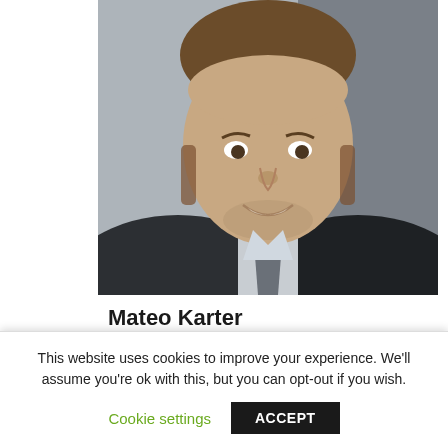[Figure (photo): Headshot photo of a young man with stubble beard, smiling, wearing a dark suit and light shirt, against a gray background]
Mateo Karter
View Full Profile →
POPULAR FOREX VIDEOS
My Favorite Online Stock Brokers to Use in 2019
This website uses cookies to improve your experience. We'll assume you're ok with this, but you can opt-out if you wish.
Cookie settings   ACCEPT